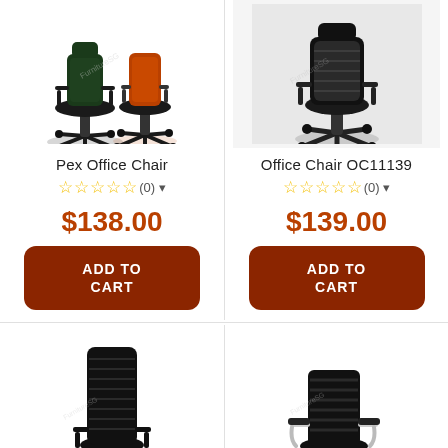[Figure (photo): Pex Office Chair product image showing two chairs, one black and one orange/red mesh, with wheels]
Pex Office Chair
☆☆☆☆☆ (0)
$138.00
ADD TO CART
[Figure (photo): Office Chair OC11139 product image showing a black mesh office chair on a grey background]
Office Chair OC11139
☆☆☆☆☆ (0)
$139.00
ADD TO CART
[Figure (photo): High-back black mesh office chair with armrests on white background]
[Figure (photo): Mid-back black ribbed office chair with chrome armrests on white background]